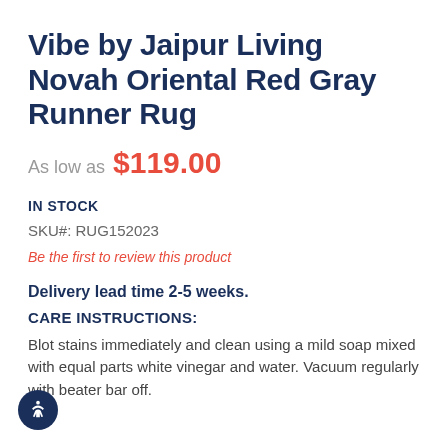Vibe by Jaipur Living Novah Oriental Red Gray Runner Rug
As low as $119.00
IN STOCK
SKU#: RUG152023
Be the first to review this product
Delivery lead time 2-5 weeks.
CARE INSTRUCTIONS:
Blot stains immediately and clean using a mild soap mixed with equal parts white vinegar and water. Vacuum regularly with beater bar off.